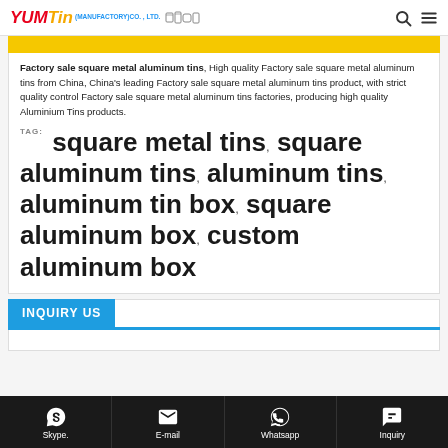YUM Tin (MANUFACTORY)CO., LTD.
Factory sale square metal aluminum tins, High quality Factory sale square metal aluminum tins from China, China's leading Factory sale square metal aluminum tins product, with strict quality control Factory sale square metal aluminum tins factories, producing high quality Aluminium Tins products.
TAG: square metal tins , square aluminum tins , aluminum tins , aluminum tin box , square aluminum box , custom aluminum box
INQUIRY US
Skype.  E-mail  Whatsapp  Inquiry